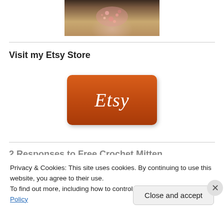[Figure (photo): Partial photo of a person wearing a cream/beige outfit with pink/red sequin or floral embellishment at the top center]
Visit my Etsy Store
[Figure (logo): Orange Etsy button/logo with white italic text reading 'Etsy' on an orange-brown rounded rectangle background]
2 Responses to Free Crochet Mitten...
Privacy & Cookies: This site uses cookies. By continuing to use this website, you agree to their use.
To find out more, including how to control cookies, see here: Cookie Policy
Close and accept